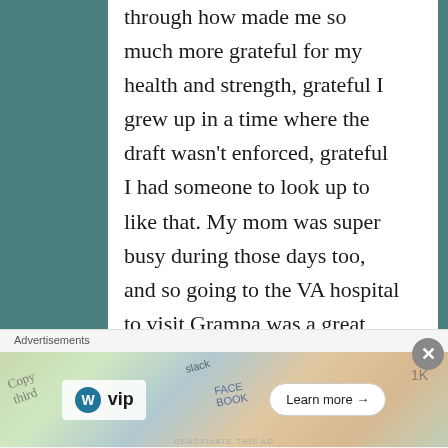through how made me so much more grateful for my health and strength, grateful I grew up in a time where the draft wasn't enforced, grateful I had someone to look up to like that. My mom was super busy during those days too, and so going to the VA hospital to visit Grampa was a great way to spend time with her and other family members.
Ultimately, no one knows for sure what can happen to us or our loved ones in
Advertisements